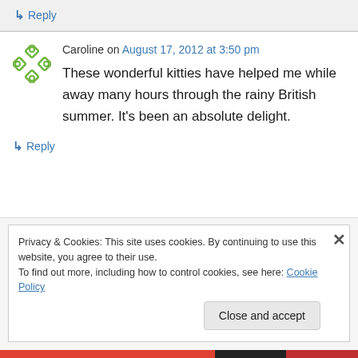↳ Reply
Caroline on August 17, 2012 at 3:50 pm
These wonderful kitties have helped me while away many hours through the rainy British summer. It's been an absolute delight.
↳ Reply
Privacy & Cookies: This site uses cookies. By continuing to use this website, you agree to their use.
To find out more, including how to control cookies, see here: Cookie Policy
Close and accept